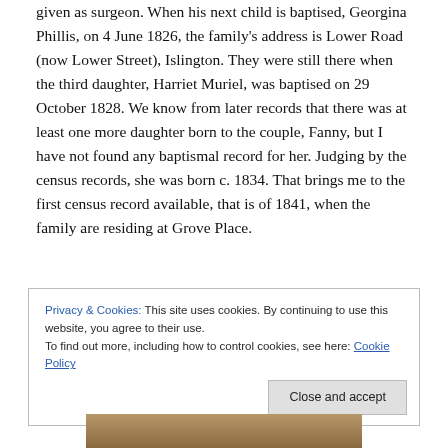given as surgeon. When his next child is baptised, Georgina Phillis, on 4 June 1826, the family's address is Lower Road (now Lower Street), Islington. They were still there when the third daughter, Harriet Muriel, was baptised on 29 October 1828. We know from later records that there was at least one more daughter born to the couple, Fanny, but I have not found any baptismal record for her. Judging by the census records, she was born c. 1834. That brings me to the first census record available, that is of 1841, when the family are residing at Grove Place.
Privacy & Cookies: This site uses cookies. By continuing to use this website, you agree to their use. To find out more, including how to control cookies, see here: Cookie Policy
[Figure (photo): Bottom portion of a photograph showing what appears to be a historical portrait, only the top edge visible.]